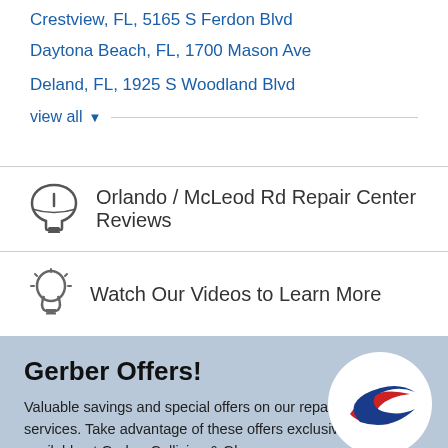Crestview, FL, 5165 S Ferdon Blvd
Daytona Beach, FL, 1700 Mason Ave
Deland, FL, 1925 S Woodland Blvd
view all ▼
Orlando / McLeod Rd Repair Center Reviews
Watch Our Videos to Learn More
Gerber Offers!
Valuable savings and special offers on our repair services. Take advantage of these offers exclusively available at Gerber Collision & Glass.
VIEW OFFERS